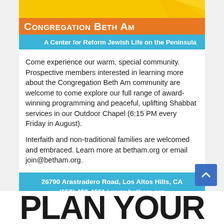[Figure (illustration): Yellow banner / top of advertisement with orange and blue header bars for Congregation Beth Am]
Congregation Beth Am
A Center for Reform Jewish Life on the Peninsula
Come experience our warm, special community. Prospective members interested in learning more about the Congregation Beth Am community are welcome to come explore our full range of award-winning programming and peaceful, uplifting Shabbat services in our Outdoor Chapel (6:15 PM every Friday in August).
Interfaith and non-traditional families are welcomed and embraced. Learn more at betham.org or email join@betham.org.
26790 Arastradero Road, Los Altos Hills, CA  (650) 493-4661 | www.betham.org
PLAN YOUR